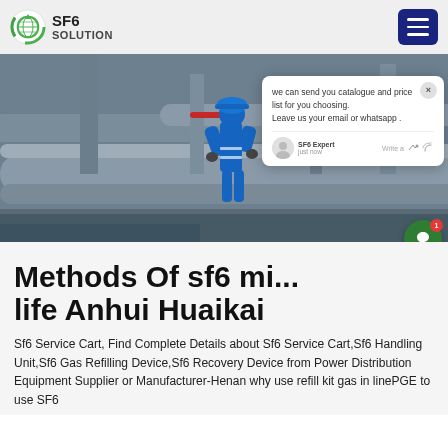SF6 SOLUTION
[Figure (photo): Industrial worker in blue protective suit and hard hat working on large pipe equipment at a power distribution facility]
we can send you catalogue and price list for you choosing. Leave us your email or whatsapp . SF6 Expert  just now  Write a
Methods Of sf6 life Anhui Huaikai
Sf6 Service Cart, Find Complete Details about Sf6 Service Cart,Sf6 Handling Unit,Sf6 Gas Refilling Device,Sf6 Recovery Device from Power Distribution Equipment Supplier or Manufacturer-Henan why use refill kit gas in linePGE to use SF6